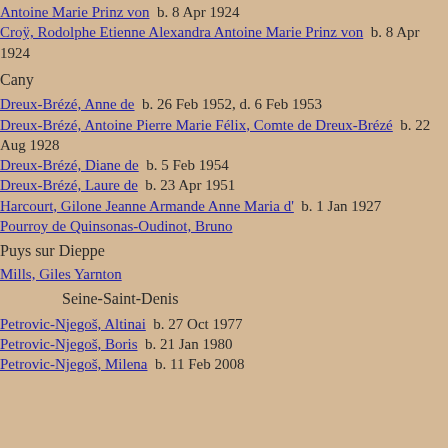Antoine Marie Prinz von  b. 8 Apr 1924
Croÿ, Rodolphe Etienne Alexandra Antoine Marie Prinz von  b. 8 Apr 1924
Cany
Dreux-Brézé, Anne de  b. 26 Feb 1952, d. 6 Feb 1953
Dreux-Brézé, Antoine Pierre Marie Félix, Comte de Dreux-Brézé  b. 22 Aug 1928
Dreux-Brézé, Diane de  b. 5 Feb 1954
Dreux-Brézé, Laure de  b. 23 Apr 1951
Harcourt, Gilone Jeanne Armande Anne Maria d'  b. 1 Jan 1927
Pourroy de Quinsonas-Oudinot, Bruno
Puys sur Dieppe
Mills, Giles Yarnton
Seine-Saint-Denis
Petrovic-Njegoš, Altinai  b. 27 Oct 1977
Petrovic-Njegoš, Boris  b. 21 Jan 1980
Petrovic-Njegoš, Milena  b. 11 Feb 2008